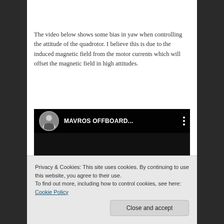The video below shows some bias in yaw when controlling the attitude of the quadrotor. I believe this is due to the induced magnetic field from the motor currents which will offset the magnetic field in high attitudes.
[Figure (screenshot): YouTube video thumbnail showing a dark background with a circular avatar, channel title 'MAVROS OFFBOARD...', three-dot menu icon, a vertical divider line, and a red blur at the bottom left.]
Privacy & Cookies: This site uses cookies. By continuing to use this website, you agree to their use.
To find out more, including how to control cookies, see here: Cookie Policy
Close and accept